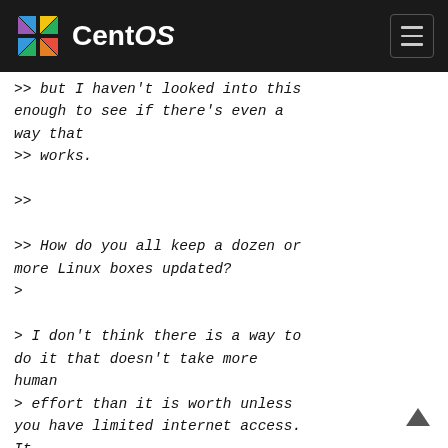CentOS
>> but I haven't looked into this enough to see if there's even a way that
>> works.
>>
>> How do you all keep a dozen or more Linux boxes updated?
>
> I don't think there is a way to do it that doesn't take more human
> effort than it is worth unless you have limited internet access.
> It